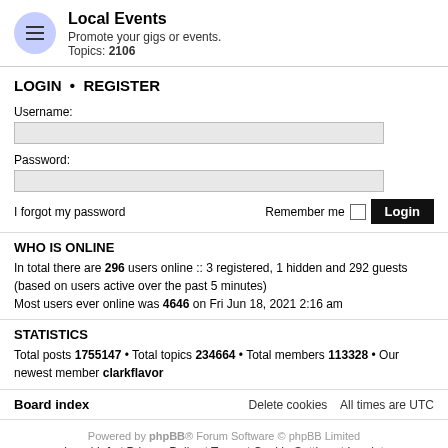Local Events
Promote your gigs or events.
Topics: 2106
LOGIN • REGISTER
Username:
Password:
I forgot my password
Remember me   Login
WHO IS ONLINE
In total there are 296 users online :: 3 registered, 1 hidden and 292 guests (based on users active over the past 5 minutes)
Most users ever online was 4646 on Fri Jun 18, 2021 2:16 am
STATISTICS
Total posts 1755147 • Total topics 234664 • Total members 113328 • Our newest member clarkflavor
Board index
Delete cookies   All times are UTC
Powered by phpBB® Forum Software © phpBB Limited
Legal Info | Privacy Policy | Terms | Cookie Settings | Imprint